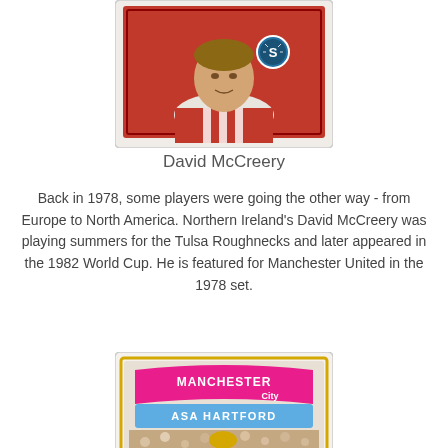[Figure (photo): Trading card showing David McCreery in a red jersey with white stripes and a blue football badge with 'S', set against a red background with a decorative border.]
David McCreery
Back in 1978, some players were going the other way - from Europe to North America. Northern Ireland's David McCreery was playing summers for the Tulsa Roughnecks and later appeared in the 1982 World Cup. He is featured for Manchester United in the 1978 set.
[Figure (photo): Trading card showing Asa Hartford for Manchester City. The card has a pink 'MANCHESTER City' banner at top, a light blue name plate reading 'ASA HARTFORD', and a photo of the player in a light blue kit with crowd in background, surrounded by a gold/yellow border.]